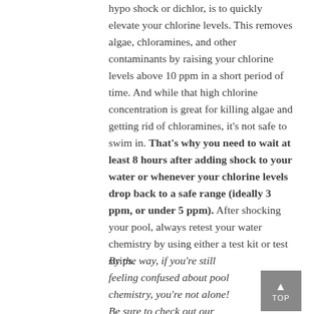hypo shock or dichlor, is to quickly elevate your chlorine levels. This removes algae, chloramines, and other contaminants by raising your chlorine levels above 10 ppm in a short period of time. And while that high chlorine concentration is great for killing algae and getting rid of chloramines, it's not safe to swim in. That's why you need to wait at least 8 hours after adding shock to your water or whenever your chlorine levels drop back to a safe range (ideally 3 ppm, or under 5 ppm). After shocking your pool, always retest your water chemistry by using either a test kit or test strips.
By the way, if you're still feeling confused about pool chemistry, you're not alone! Be sure to check out our comprehensive Pool Care Video Course.